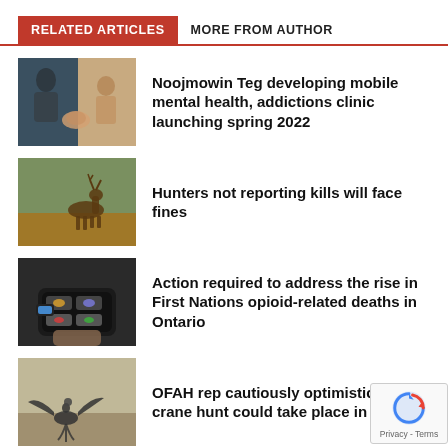RELATED ARTICLES | MORE FROM AUTHOR
[Figure (photo): Person holding hands together, therapy session]
Noojmowin Teg developing mobile mental health, addictions clinic launching spring 2022
[Figure (photo): Deer running in a field]
Hunters not reporting kills will face fines
[Figure (photo): Hand holding a medication case with pills]
Action required to address the rise in First Nations opioid-related deaths in Ontario
[Figure (photo): Bird landing in a field]
OFAH rep cautiously optimistic S crane hunt could take place in fut